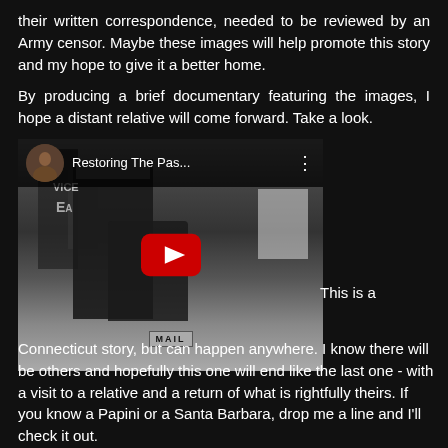their written correspondence, needed to be reviewed by an Army censor. Maybe these images will help promote this story and my hope to give it a better home.
By producing a brief documentary featuring the images, I hope a distant relative will come forward. Take a look.
[Figure (screenshot): YouTube video thumbnail showing a black and white photo of a person at a mailbox. The video title reads 'Restoring The Pas...' with a YouTube play button overlay and a channel avatar in the top left.]
This is a Connecticut story, but can happen anywhere. I know there will be others and hopefully this one will end like the last one - with a visit to a relative and a return of what is rightfully theirs. If you know a Papini or a Santa Barbara, drop me a line and I'll check it out.